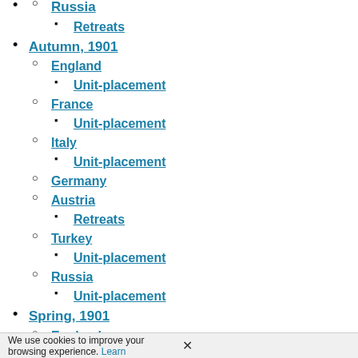Russia (partial, top)
Retreats
Autumn, 1901
England
Unit-placement
France
Unit-placement
Italy
Unit-placement
Germany
Austria
Retreats
Turkey
Unit-placement
Russia
Unit-placement
Spring, 1901
England
France
We use cookies to improve your browsing experience. Learn ✕